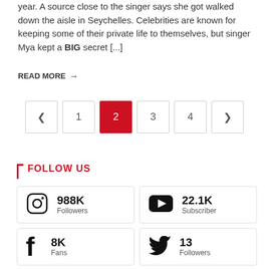year. A source close to the singer says she got walked down the aisle in Seychelles. Celebrities are known for keeping some of their private life to themselves, but singer Mya kept a BIG secret [...]
READ MORE →
[Figure (other): Pagination navigation with buttons: previous (arrow), 1, 2 (active/highlighted red), 3, 4, next (arrow)]
FOLLOW US
| Instagram 988K Followers | YouTube 22.1K Subscriber |
| Facebook 8K Fans | Twitter 13 Followers |